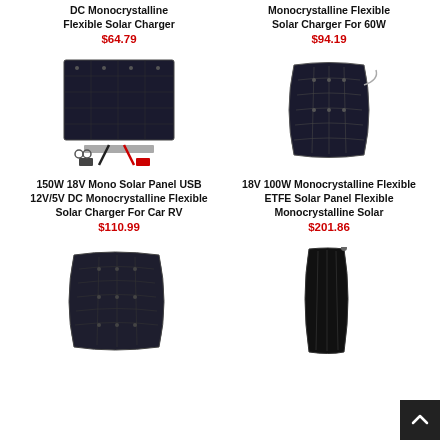DC Monocrystalline Flexible Solar Charger
$64.79
Monocrystalline Flexible Solar Charger For 60W
$94.19
[Figure (photo): 150W 18V Mono Solar Panel with USB cables and clips]
150W 18V Mono Solar Panel USB 12V/5V DC Monocrystalline Flexible Solar Charger For Car RV
$110.99
[Figure (photo): 18V 100W Monocrystalline Flexible ETFE Solar Panel, curved black panel]
18V 100W Monocrystalline Flexible ETFE Solar Panel Flexible Monocrystalline Solar
$201.86
[Figure (photo): Flexible solar panel, curved, black, bottom-left product]
[Figure (photo): Flexible solar panel, curved, dark, bottom-right product]